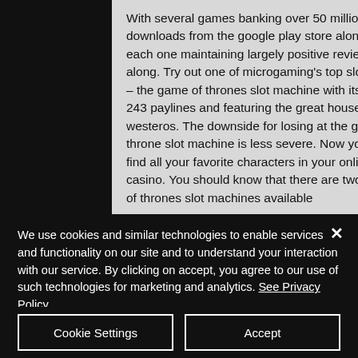With several games banking over 50 million downloads from the google play store alone and each one maintaining largely positive reviews along. Try out one of microgaming's top slot game – the game of thrones slot machine with its 15 and 243 paylines and featuring the great houses of westeros. The downside for losing at the game of throne slot machine is less severe. Now you can find all your favorite characters in your online casino. You should know that there are two game of thrones slot machines available
We use cookies and similar technologies to enable services and functionality on our site and to understand your interaction with our service. By clicking on accept, you agree to our use of such technologies for marketing and analytics. See Privacy Policy